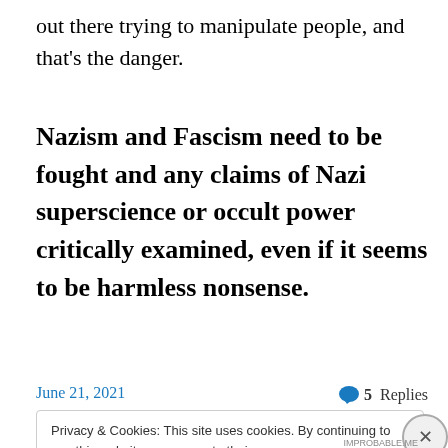out there trying to manipulate people, and that's the danger.
Nazism and Fascism need to be fought and any claims of Nazi superscience or occult power critically examined, even if it seems to be harmless nonsense.
June 21, 2021
5 Replies
Privacy & Cookies: This site uses cookies. By continuing to use this website, you agree to their use. To find out more, including how to control cookies, see here: Cookie Policy
Close and accept